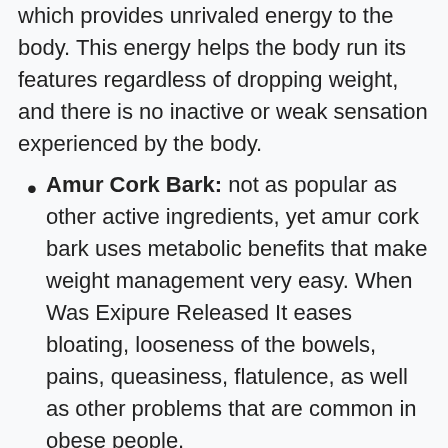which provides unrivaled energy to the body. This energy helps the body run its features regardless of dropping weight, and there is no inactive or weak sensation experienced by the body.
Amur Cork Bark: not as popular as other active ingredients, yet amur cork bark uses metabolic benefits that make weight management very easy. When Was Exipure Released It eases bloating, looseness of the bowels, pains, queasiness, flatulence, as well as other problems that are common in obese people.
Quercetin: Next on this list is quercetin, an active ingredient offering benefits for blood pressure, heart health, as well as vessel wellness. Some studies additionally show its